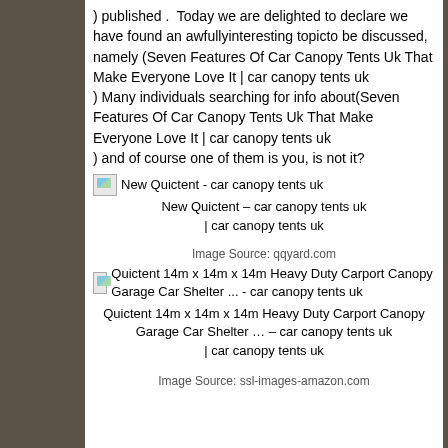) published .  Today we are delighted to declare we have found an awfullyinteresting topicto be discussed, namely (Seven Features Of Car Canopy Tents Uk That Make Everyone Love It | car canopy tents uk ) Many individuals searching for info about(Seven Features Of Car Canopy Tents Uk That Make Everyone Love It | car canopy tents uk ) and of course one of them is you, is not it?
[Figure (photo): Broken image placeholder for New Quictent - car canopy tents uk]
New Quictent – car canopy tents uk
| car canopy tents uk
Image Source: qqyard.com
[Figure (photo): Broken image placeholder for Quictent 14m x 14m x 14m Heavy Duty Carport Canopy Garage Car Shelter ... - car canopy tents uk]
Quictent 14m x 14m x 14m Heavy Duty Carport Canopy Garage Car Shelter … – car canopy tents uk
| car canopy tents uk
Image Source: ssl-images-amazon.com